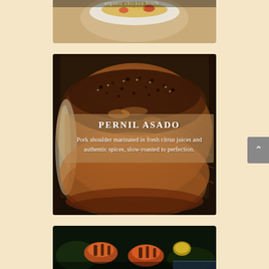[Figure (photo): Partial top image showing a white bowl with colorful food (corn, peppers) — appears to be a casserole or side dish, cropped at top]
[Figure (photo): Close-up photo of Pernil Asado — slow-roasted pork shoulder with dark herb and spice crust, glistening with juices, served in a dark roasting pan]
PERNIL ASADO
Pork shoulder marinated in fresh citrus juices and authentic spices, slow-roasted to perfection.
[Figure (photo): Partial bottom image showing grilled or roasted shrimp/seafood with char marks on a dark background — cropped at bottom]